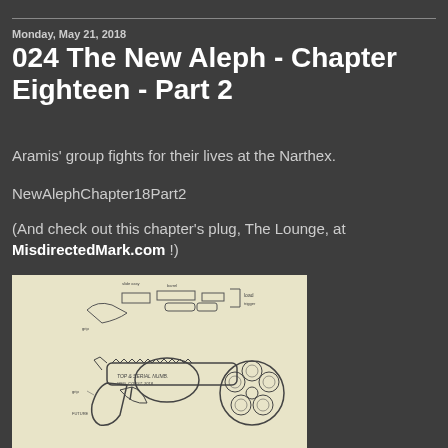Monday, May 21, 2018
024 The New Aleph - Chapter Eighteen - Part 2
Aramis' group fights for their lives at the Narthex.
NewAlephChapter18Part2
(And check out this chapter's plug, The Lounge, at MisdirectedMark.com !)
[Figure (illustration): Pencil sketch/engineering drawing of a revolver-style firearm shown from side and rear cylinder view, drawn on yellowed paper with handwritten annotations.]